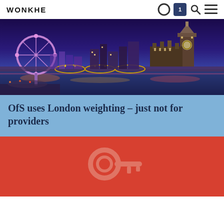WONKHE
[Figure (photo): Nighttime panoramic photo of London skyline showing the London Eye, Thames River, Westminster Bridge, Big Ben and Houses of Parliament lit up in blue and red twilight.]
OfS uses London weighting – just not for providers
[Figure (illustration): Red background with a light pink/salmon illustration of keys or a key-related graphic, partially visible at the bottom of the page.]